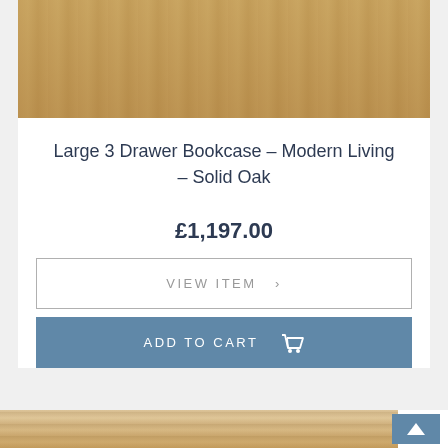[Figure (photo): Product photo showing a large 3 drawer bookcase in solid oak with light wood finish, drawers visible, decorative items on top]
Large 3 Drawer Bookcase – Modern Living – Solid Oak
£1,197.00
VIEW ITEM >
ADD TO CART
[Figure (photo): Partial product photo showing a stone wall background, bottom portion of image visible]